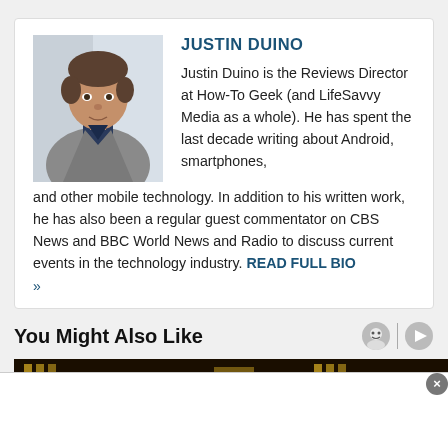[Figure (photo): Headshot photo of Justin Duino, a man in a grey blazer and dark shirt, photographed in a bright indoor setting.]
JUSTIN DUINO
Justin Duino is the Reviews Director at How-To Geek (and LifeSavvy Media as a whole). He has spent the last decade writing about Android, smartphones, and other mobile technology. In addition to his written work, he has also been a regular guest commentator on CBS News and BBC World News and Radio to discuss current events in the technology industry. READ FULL BIO »
You Might Also Like
[Figure (photo): Partial thumbnail strip showing what appears to be a dark-toned image, partially visible at bottom of page.]